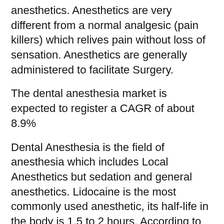anesthetics. Anesthetics are very different from a normal analgesic (pain killers) which relives pain without loss of sensation. Anesthetics are generally administered to facilitate Surgery.
The dental anesthesia market is expected to register a CAGR of about 8.9%
Dental Anesthesia is the field of anesthesia which includes Local Anesthetics but sedation and general anesthetics. Lidocaine is the most commonly used anesthetic, its half-life in the body is 1.5 to 2 hours. According to recent trends heavy investment is going into R&D and technology to develop better delivery devices and improved techniques to deliver anesthesia.